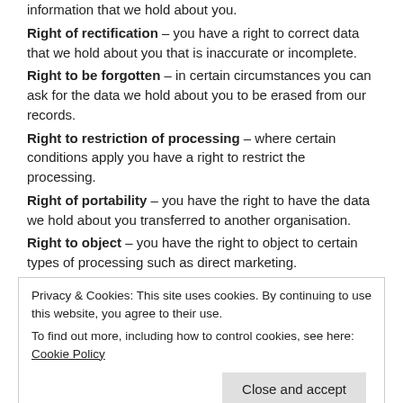information that we hold about you.
Right of rectification – you have a right to correct data that we hold about you that is inaccurate or incomplete.
Right to be forgotten – in certain circumstances you can ask for the data we hold about you to be erased from our records.
Right to restriction of processing – where certain conditions apply you have a right to restrict the processing.
Right of portability – you have the right to have the data we hold about you transferred to another organisation.
Right to object – you have the right to object to certain types of processing such as direct marketing.
Right to object to automated processing, including profiling.
Privacy & Cookies: This site uses cookies. By continuing to use this website, you agree to their use.
To find out more, including how to control cookies, see here: Cookie Policy
Close and accept
of access, we will provide you with a reason as to why, which you have the right to legally challenge. At your request